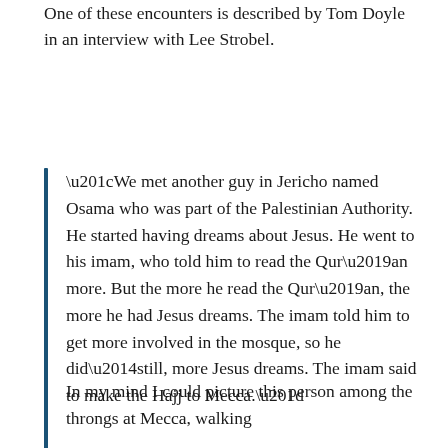One of these encounters is described by Tom Doyle in an interview with Lee Strobel.
“We met another guy in Jericho named Osama who was part of the Palestinian Authority. He started having dreams about Jesus. He went to his imam, who told him to read the Qur’an more. But the more he read the Qur’an, the more he had Jesus dreams. The imam told him to get more involved in the mosque, so he did—still, more Jesus dreams. The imam said to make the Hajj to Mecca.”
In my mind I could picture this person among the throngs at Mecca, walking